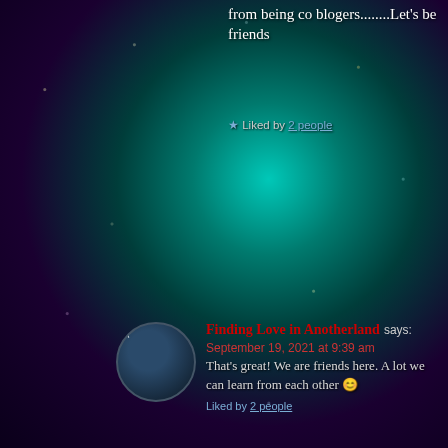from being co blogers........Let's be friends
★ Liked by 2 people
Finding Love in Anotherland says: September 19, 2021 at 9:39 am That's great! We are friends here. A lot we can learn from each other 😊
Liked by 2 people
surindergupta says: September 19, 2021 at 9:40 am 👍👍👍👍👍sure....keep in touch
★ Liked by 2 people